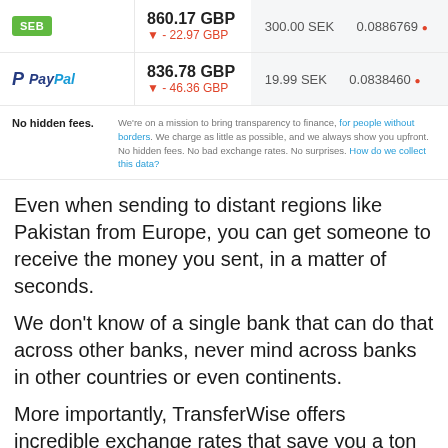| Provider | Amount (GBP) | SEK | Rate |
| --- | --- | --- | --- |
| SEB | 860.17 GBP ▼ -22.97 GBP | 300.00 SEK | 0.0886769 |
| PayPal | 836.78 GBP ▼ -46.36 GBP | 19.99 SEK | 0.0838460 |
No hidden fees. We're on a mission to bring transparency to finance, for people without borders. We charge as little as possible, and we always show you upfront. No hidden fees. No bad exchange rates. No surprises. How do we collect this data?
Even when sending to distant regions like Pakistan from Europe, you can get someone to receive the money you sent, in a matter of seconds.
We don't know of a single bank that can do that across other banks, never mind across banks in other countries or even continents.
More importantly, TransferWise offers incredible exchange rates that save you a ton compared to if you sent directly from your bank.